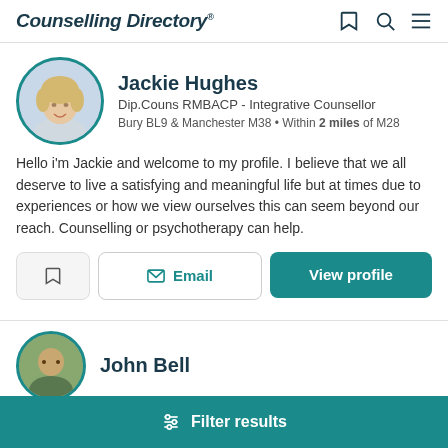Counselling Directory
Jackie Hughes
Dip.Couns RMBACP - Integrative Counsellor
Bury BL9 & Manchester M38 • Within 2 miles of M28
Hello i'm Jackie and welcome to my profile. I believe that we all deserve to live a satisfying and meaningful life but at times due to experiences or how we view ourselves this can seem beyond our reach. Counselling or psychotherapy can help.
John Bell
Filter results